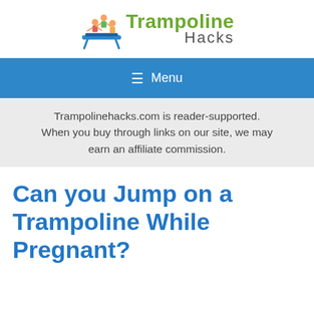[Figure (logo): Trampoline Hacks logo with children on trampoline graphic and green/grey text]
≡  Menu
Trampolinehacks.com is reader-supported. When you buy through links on our site, we may earn an affiliate commission.
Can you Jump on a Trampoline While Pregnant?